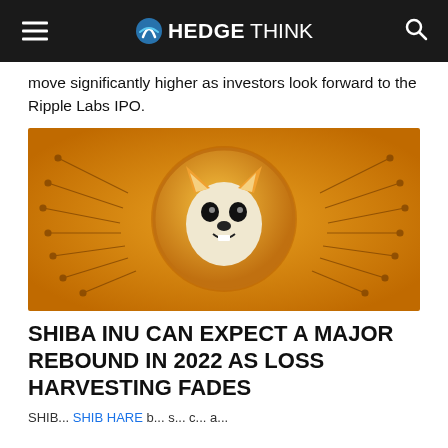HEDGETHINK
move significantly higher as investors look forward to the Ripple Labs IPO.
[Figure (illustration): Shiba Inu cryptocurrency coin illustration — glowing orange circular coin with Shiba Inu dog face logo, surrounded by circuit board line patterns radiating outward on an orange background]
SHIBA INU CAN EXPECT A MAJOR REBOUND IN 2022 AS LOSS HARVESTING FADES
SHIB...